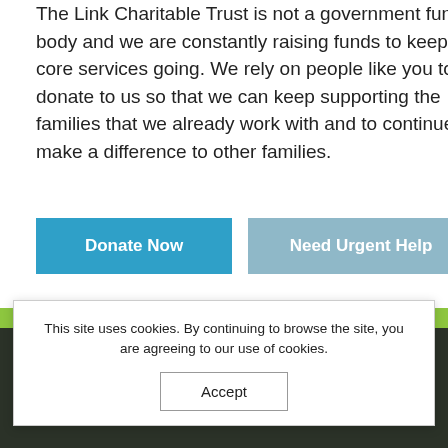The Link Charitable Trust is not a government funded body and we are constantly raising funds to keep our core services going. We rely on people like you to donate to us so that we can keep supporting the families that we already work with and to continue to make a difference to other families.
Donate Now
Need Urgent Help
Our Projects & Services
The Link Charitable Trust provides a range of
This site uses cookies. By continuing to browse the site, you are agreeing to our use of cookies.
Accept